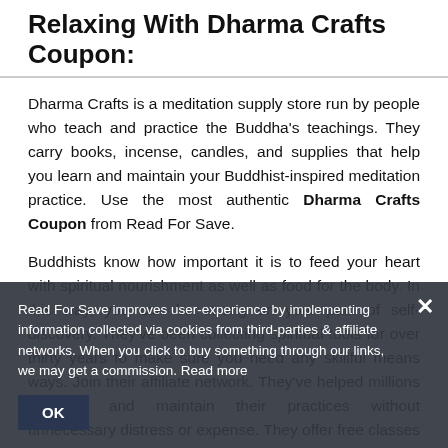Relaxing With Dharma Crafts Coupon:
Dharma Crafts is a meditation supply store run by people who teach and practice the Buddha's teachings. They carry books, incense, candles, and supplies that help you learn and maintain your Buddhist-inspired meditation practice. Use the most authentic Dharma Crafts Coupon from Read For Save.
Buddhists know how important it is to feed your heart with spiritual nourishment as well as food for the body. In this way, you can be strong on your path of self-discovery. They've been collecting spiritual tools for over thirty years to make sure you need any skillful means ways. Join their affiliate network. They've helped millions meditate and maintain their practices without unnecessary distress or expense. They offer free classes on Buddhist principles and mindfulness meditation for their non-profit organization - The Dharma Dana Community...
Read For Save improves user-experience by implementing information collected via cookies from third-parties & affiliate networks. When you click to buy something through our links, we may get a commission. Read more